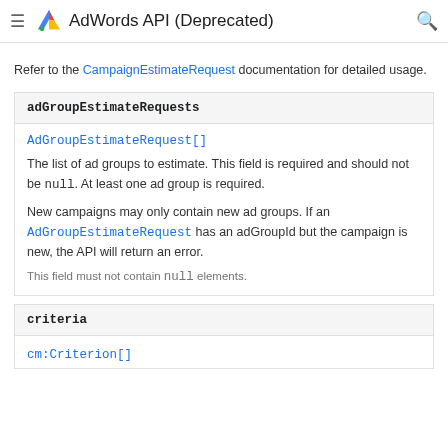AdWords API (Deprecated)
Refer to the CampaignEstimateRequest documentation for detailed usage.
| adGroupEstimateRequests |
| --- |
| AdGroupEstimateRequest[] |
| The list of ad groups to estimate. This field is required and should not be null. At least one ad group is required. |
| New campaigns may only contain new ad groups. If an AdGroupEstimateRequest has an adGroupId but the campaign is new, the API will return an error. |
| This field must not contain null elements. |
| criteria |
| --- |
| cm:Criterion[] |